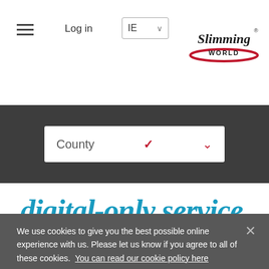Log in | IE | Slimming World
County
digital-only service
We use cookies to give you the best possible online experience with us. Please let us know if you agree to all of these cookies. You can read our cookie policy here
Manage cookies
Allow all cookies